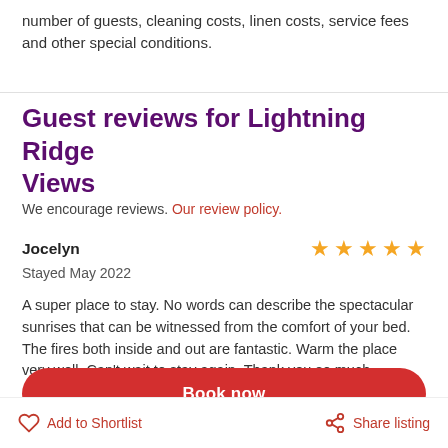number of guests, cleaning costs, linen costs, service fees and other special conditions.
Guest reviews for Lightning Ridge Views
We encourage reviews. Our review policy.
Jocelyn
Stayed May 2022
A super place to stay. No words can describe the spectacular sunrises that can be witnessed from the comfort of your bed. The fires both inside and out are fantastic. Warm the place very well. Can't wait to stay again. Thank you so much.
Book now
Add to Shortlist
Share listing